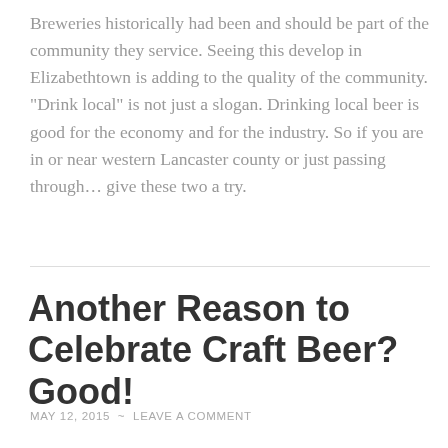Breweries historically had been and should be part of the community they service.  Seeing this develop in Elizabethtown is adding to the quality of the community.  "Drink local" is not just a slogan.  Drinking local beer is good for the economy and for the industry. So if you are in or near western Lancaster county or just passing through… give these two a try.
Another Reason to Celebrate Craft Beer? Good!
MAY 12, 2015  ~  LEAVE A COMMENT